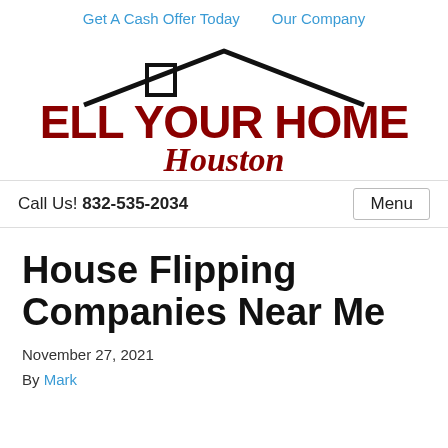Get A Cash Offer Today   Our Company
[Figure (logo): Sell Your Homes Houston logo with house roofline outline above bold dark red text 'SELL YOUR HOMES' and cursive dark red text 'Houston' below]
Call Us! 832-535-2034
Menu
House Flipping Companies Near Me
November 27, 2021
By Mark